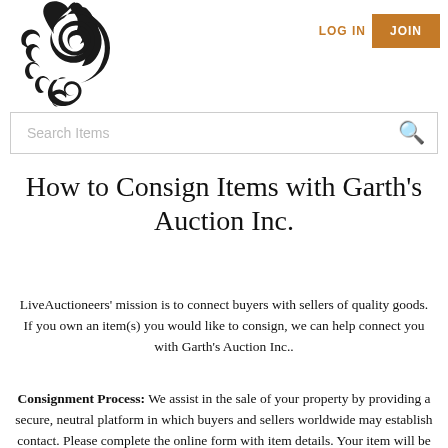[Figure (logo): Ornate decorative flourish/scroll logo for Garth's Auction Inc.]
LOG IN   JOIN
Search Items
How to Consign Items with Garth's Auction Inc.
LiveAuctioneers' mission is to connect buyers with sellers of quality goods. If you own an item(s) you would like to consign, we can help connect you with Garth's Auction Inc..
Consignment Process: We assist in the sale of your property by providing a secure, neutral platform in which buyers and sellers worldwide may establish contact. Please complete the online form with item details. Your item will be